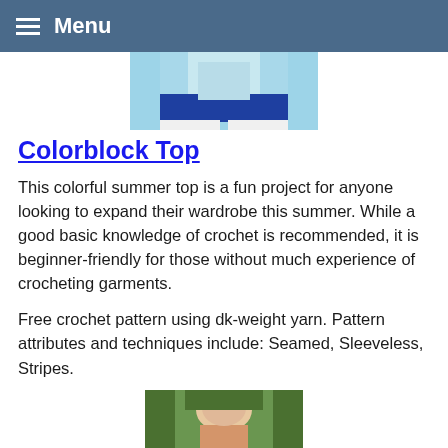Menu
[Figure (photo): Partial view of a person wearing a colorblock crochet top with blue band and white pants against a light blue background]
Colorblock Top
This colorful summer top is a fun project for anyone looking to expand their wardrobe this summer. While a good basic knowledge of crochet is recommended, it is beginner-friendly for those without much experience of crocheting garments.
Free crochet pattern using dk-weight yarn. Pattern attributes and techniques include: Seamed, Sleeveless, Stripes.
[Figure (photo): Partial view of a person outdoors with greenery in the background]